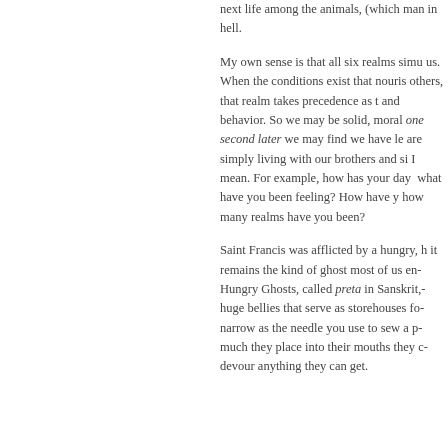next life among the animals, (which man... in hell.
My own sense is that all six realms simultaneously exist within us. When the conditions exist that nourish one realm more than others, that realm takes precedence as the expression of our mind and behavior. So we may be solid, moral human beings, and one second later we may find we have left that realm. Maybe we are simply living with our brothers and sisters, if you see what I mean. For example, how has your day gone so far, and what have you been feeling? How have you been behaving, and how many realms have you been?
Saint Francis was afflicted by a hungry, h... it remains the kind of ghost most of us en... Hungry Ghosts, called preta in Sanskrit, ... huge bellies that serve as storehouses fo... narrow as the needle you use to sew a p... much they place into their mouths they c... devour anything they can get.